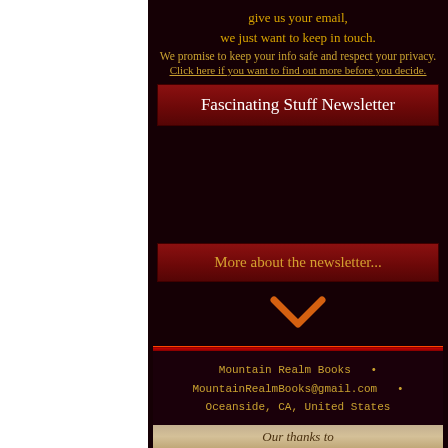give us your email,
we just want to keep in touch.
We promise to keep your info safe and respect your privacy.
Click here if you want to find out more before you decide.
Fascinating Stuff Newsletter
More about the newsletter...
Mountain Realm Books  •
MountainRealmBooks@gmail.com  •
Oceanside, CA, United States
Our thanks to